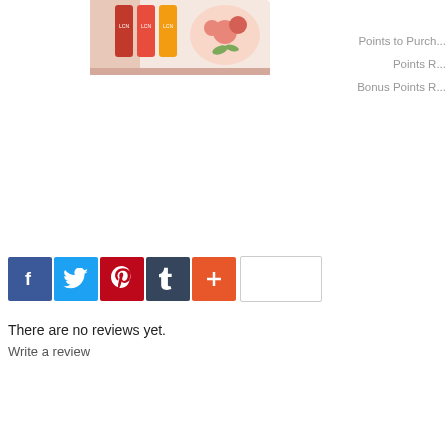[Figure (photo): Product image showing LCN nail polish bottles in a box with floral decoration (roses), partially cropped at top]
Points to Purchase
Points R
Bonus Points R
[Figure (infographic): Social sharing bar with Facebook (blue), Twitter (light blue), Pinterest (red), Tumblr (dark blue), and a plus/more button (orange-red), followed by an empty share count box]
There are no reviews yet.
Write a review